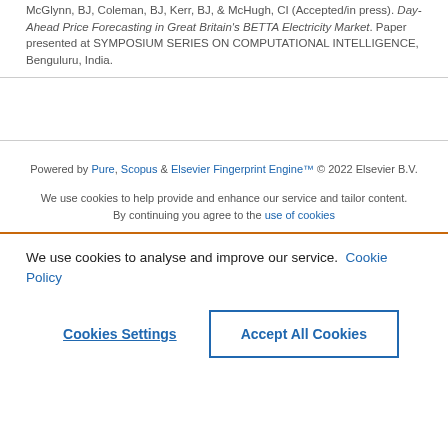McGlynn, BJ, Coleman, BJ, Kerr, BJ, & McHugh, CI (Accepted/in press). Day-Ahead Price Forecasting in Great Britain's BETTA Electricity Market. Paper presented at SYMPOSIUM SERIES ON COMPUTATIONAL INTELLIGENCE, Benguluru, India.
Powered by Pure, Scopus & Elsevier Fingerprint Engine™ © 2022 Elsevier B.V.
We use cookies to help provide and enhance our service and tailor content. By continuing you agree to the use of cookies
We use cookies to analyse and improve our service. Cookie Policy
Cookies Settings
Accept All Cookies